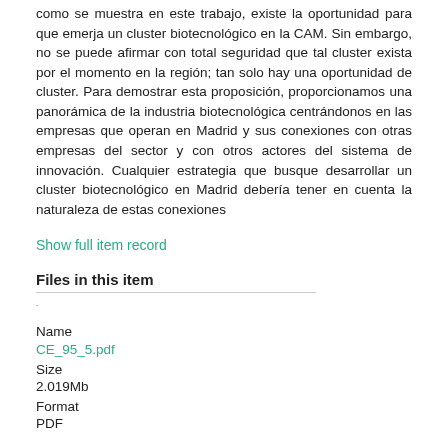como se muestra en este trabajo, existe la oportunidad para que emerja un cluster biotecnológico en la CAM. Sin embargo, no se puede afirmar con total seguridad que tal cluster exista por el momento en la región; tan solo hay una oportunidad de cluster. Para demostrar esta proposición, proporcionamos una panorámica de la industria biotecnológica centrándonos en las empresas que operan en Madrid y sus conexiones con otras empresas del sector y con otros actores del sistema de innovación. Cualquier estrategia que busque desarrollar un cluster biotecnológico en Madrid debería tener en cuenta la naturaleza de estas conexiones
Show full item record
Files in this item
| Name |  |
| --- | --- |
| CE_95_5.pdf |  |
| Size |  |
| 2.019Mb |  |
| Format |  |
| PDF |  |